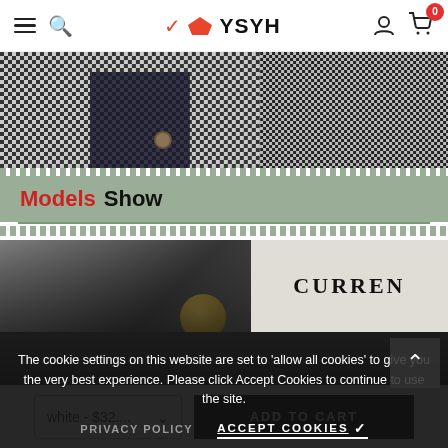YSYH navigation bar with hamburger menu, search, logo, account and cart (0)
[Figure (photo): Close-up of houndstooth/checkered fabric with dark overlay and button detail]
Models Show
[Figure (photo): Fashion model show photo with CURREN brand text on textured background]
The cookie settings on this website are set to 'allow all cookies' to give you the very best experience. Please click Accept Cookies to continue to use the site.
PRIVACY POLICY   ACCEPT COOKIES ✓
white - $32....   ADD TO CART